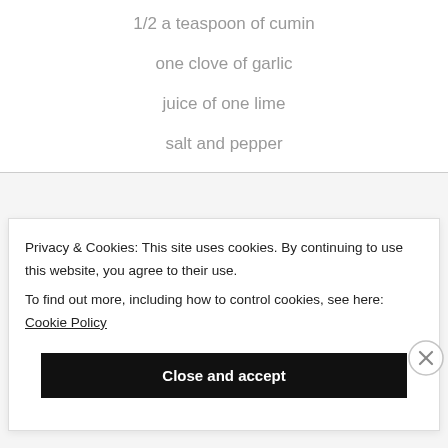1/2 a teaspoon of cumin
one clove of garlic
juice of one lime
salt and pepper
Privacy & Cookies: This site uses cookies. By continuing to use this website, you agree to their use. To find out more, including how to control cookies, see here: Cookie Policy
Close and accept